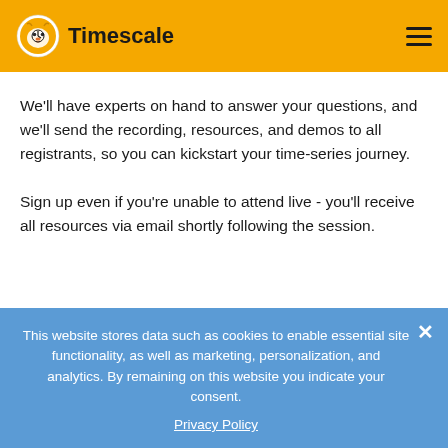Timescale
We'll have experts on hand to answer your questions, and we'll send the recording, resources, and demos to all registrants, so you can kickstart your time-series journey.
Sign up even if you're unable to attend live - you'll receive all resources via email shortly following the session.
This website stores data such as cookies to enable essential site functionality, as well as marketing, personalization, and analytics. By remaining on this website you indicate your consent.
Privacy Policy